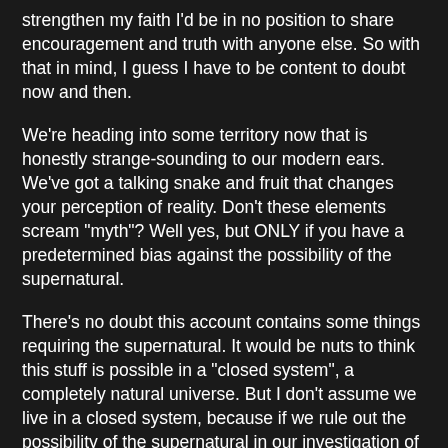strengthen my faith I'd be in no position to share encouragement and truth with anyone else. So with that in mind, I guess I have to be content to doubt now and then.
We're heading into some territory now that is honestly strange-sounding to our modern ears. We've got a talking snake and fruit that changes your perception of reality. Don't these elements scream "myth"? Well yes, but ONLY if you have a predetermined bias against the possibility of the supernatural.
There's no doubt this account contains some things requiring the supernatural. It would be nuts to think this stuff is possible in a "closed system", a completely natural universe. But I don't assume we live in a closed system, because if we rule out the possibility of the supernatural in our investigation of truth, we have already decided what we are going to believe before our investigation has begun.
There is plenty of debate over whether or not Genesis, or at least its early chapters, was considered poetical/symbolic by ancient Hebrews or not. I'm persuaded that Genesis is